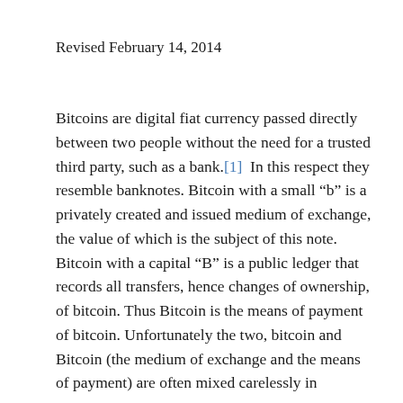Revised February 14, 2014
Bitcoins are digital fiat currency passed directly between two people without the need for a trusted third party, such as a bank.[1]  In this respect they resemble banknotes. Bitcoin with a small “b” is a privately created and issued medium of exchange, the value of which is the subject of this note.  Bitcoin with a capital “B” is a public ledger that records all transfers, hence changes of ownership, of bitcoin. Thus Bitcoin is the means of payment of bitcoin. Unfortunately the two, bitcoin and Bitcoin (the medium of exchange and the means of payment) are often mixed carelessly in